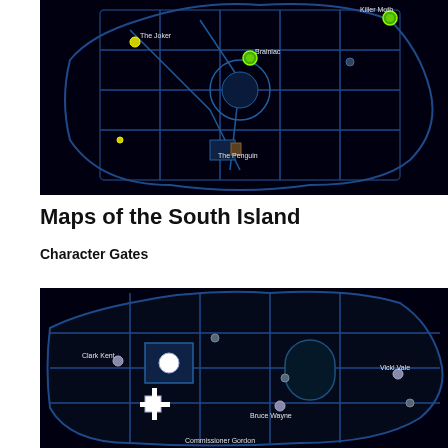[Figure (map): Top-down blue-tinted game map of the South Island showing character locations including The Joker, Brainiac, The Penguin, and Killer Moth with glowing green icons on a dark background with blue road/building outlines.]
Maps of the South Island
Character Gates
[Figure (map): Top-down blue-tinted game map showing character gate locations including Clark Kent, Vicki Vale, Bruce Wayne, and Commissioner Gordon on a dark background with blue road/building outlines.]